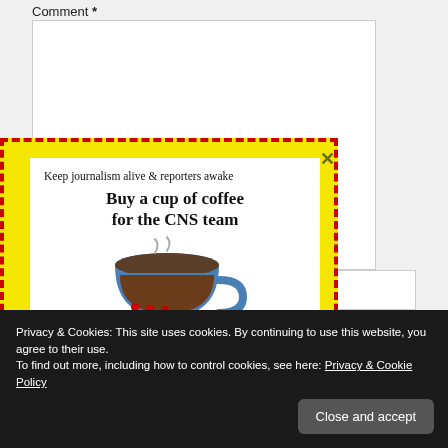Comment *
[Figure (screenshot): Comment text area input box, empty, with light border]
[Figure (infographic): Yellow dashed-border popup overlay with white inner card. Text: 'Keep journalism alive & reporters awake' / 'Buy a cup of coffee for the CNS team' with a blue coffee cup illustration. An X close button in the top right corner of the yellow box.]
Privacy & Cookies: This site uses cookies. By continuing to use this website, you agree to their use.
To find out more, including how to control cookies, see here: Privacy & Cookie Policy
Close and accept